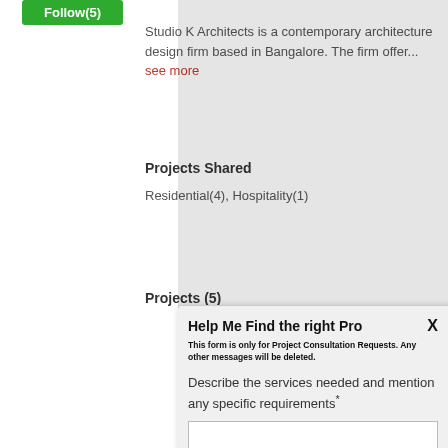Follow(5)
Studio K Architects is a contemporary architecture design firm based in Bangalore. The firm offer...
see more
Projects Shared
Residential(4), Hospitality(1)
Projects (5)
Follow(5)
Help Me Find the right Pro
This form is only for Project Consultation Requests. Any other messages will be deleted.
Describe the services needed and mention any specific requirements*
Next